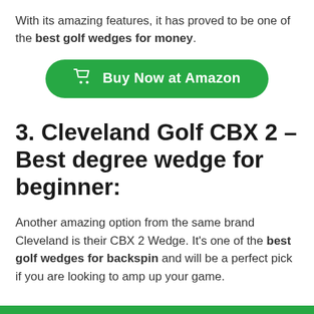With its amazing features, it has proved to be one of the best golf wedges for money.
[Figure (other): Green rounded button with shopping cart icon and text 'Buy Now at Amazon']
3. Cleveland Golf CBX 2 – Best degree wedge for beginner:
Another amazing option from the same brand Cleveland is their CBX 2 Wedge. It's one of the best golf wedges for backspin and will be a perfect pick if you are looking to amp up your game.